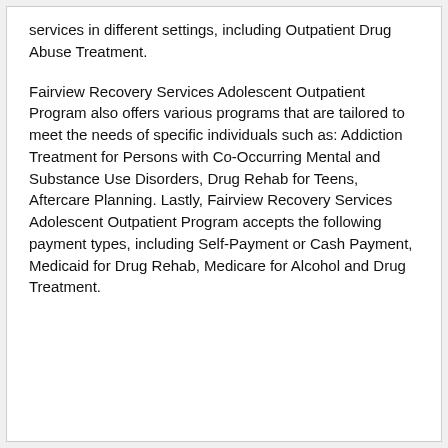services in different settings, including Outpatient Drug Abuse Treatment.
Fairview Recovery Services Adolescent Outpatient Program also offers various programs that are tailored to meet the needs of specific individuals such as: Addiction Treatment for Persons with Co-Occurring Mental and Substance Use Disorders, Drug Rehab for Teens, Aftercare Planning. Lastly, Fairview Recovery Services Adolescent Outpatient Program accepts the following payment types, including Self-Payment or Cash Payment, Medicaid for Drug Rehab, Medicare for Alcohol and Drug Treatment.